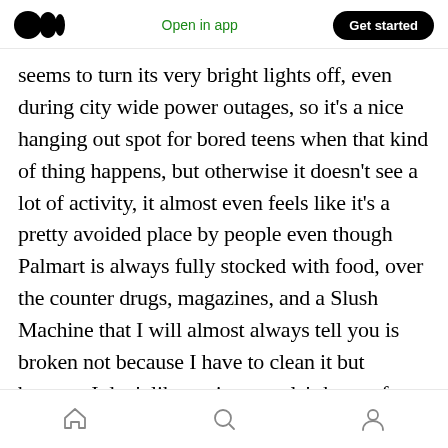Medium logo | Open in app | Get started
seems to turn its very bright lights off, even during city wide power outages, so it's a nice hanging out spot for bored teens when that kind of thing happens, but otherwise it doesn't see a lot of activity, it almost even feels like it's a pretty avoided place by people even though Palmart is always fully stocked with food, over the counter drugs, magazines, and a Slush Machine that I will almost always tell you is broken not because I have to clean it but because I don't like seeing people's happy faces when they drink that terrible beverage.
Home | Search | Profile